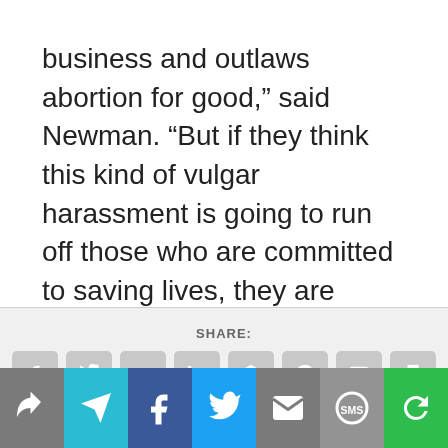business and outlaws abortion for good,” said Newman. “But if they think this kind of vulgar harassment is going to run off those who are committed to saving lives, they are sadly mistaken.”
[Figure (screenshot): Social share bar with SHARE: label and icons for Facebook, Twitter, Google+, LinkedIn, Buffer, StumbleUpon, Email, Print]
[Figure (screenshot): Mobile bottom navigation bar with share, send, Facebook, Twitter, email, SMS, and refresh icons on colored backgrounds]